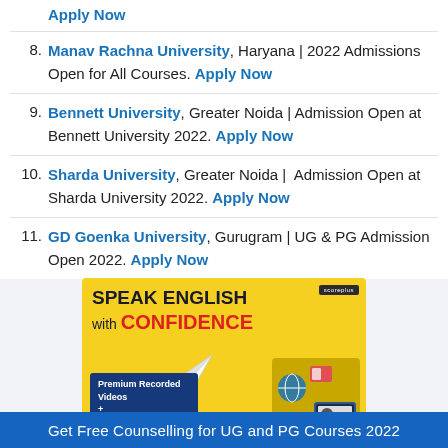Apply Now
8. Manav Rachna University, Haryana | 2022 Admissions Open for All Courses. Apply Now
9. Bennett University, Greater Noida | Admission Open at Bennett University 2022. Apply Now
10. Sharda University, Greater Noida | Admission Open at Sharda University 2022. Apply Now
11. GD Goenka University, Gurugram | UG & PG Admission Open 2022. Apply Now
[Figure (illustration): Advertisement banner: 'Speak English with Confidence' - Premium Recorded Videos, yellow background with paper airplane graphic and student with laptop. Scoreplus branding.]
Get Free Counselling for UG and PG Courses 2022